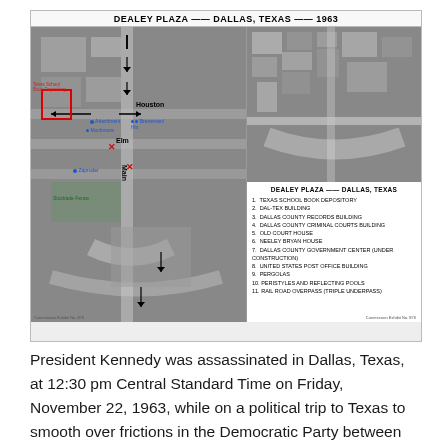[Figure (map): Dealey Plaza Dallas Texas 1963 — annotated aerial map with two panels. Left panel: annotated overhead aerial photograph of Dealey Plaza showing Houston, Elm, and Main streets with location markers in blue (Attachment, Oswald, Zapruder, Depository), red box marking Texas School Book Depository, red X marks for shooting positions, green markers for stockade fence. Right panel: aerial photograph of Dealey Plaza from another angle, with numbered legend listing 11 landmarks including Texas School Book Depository (1), Dal-Tex Building (2), Dallas County Records Building (3), Dallas County Criminal Courts Building (4), Old Court House (5), Neeley Bryan House (6), Dallas County Government Center Under Construction (7), United States Post Office Building (8), Pergolas (9), Peristyles and Reflecting Pools (10), Railroad Overpass Triple Underpass (11). Title reads DEALEY PLAZA -- DALLAS, TEXAS -- 1963.]
President Kennedy was assassinated in Dallas, Texas, at 12:30 pm Central Standard Time on Friday, November 22, 1963, while on a political trip to Texas to smooth over frictions in the Democratic Party between liberals Ralph